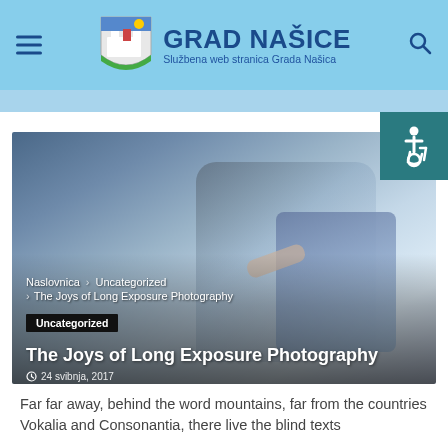GRAD NAŠICE — Službena web stranica Grada Našica
[Figure (screenshot): Hero image of hands using a smartphone/tablet, with article overlay showing breadcrumb navigation, category tag 'Uncategorized', title 'The Joys of Long Exposure Photography', and date '24 svibnja, 2017']
Naslovnica  Uncategorized  The Joys of Long Exposure Photography
The Joys of Long Exposure Photography
24 svibnja, 2017
Far far away, behind the word mountains, far from the countries Vokalia and Consonantia, there live the blind texts